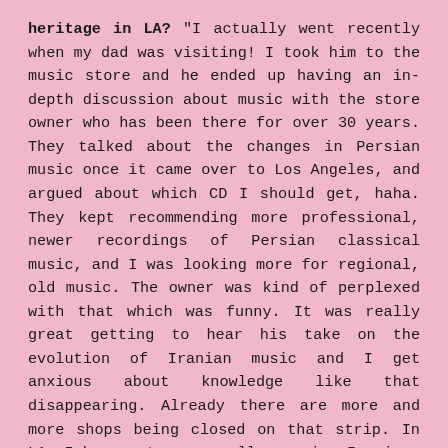heritage in LA? "I actually went recently when my dad was visiting! I took him to the music store and he ended up having an in-depth discussion about music with the store owner who has been there for over 30 years. They talked about the changes in Persian music once it came over to Los Angeles, and argued about which CD I should get, haha. They kept recommending more professional, newer recordings of Persian classical music, and I was looking more for regional, old music. The owner was kind of perplexed with that which was funny. It was really great getting to hear his take on the evolution of Iranian music and I get anxious about knowledge like that disappearing. Already there are more and more shops being closed on that strip. In LA, I have met some really amazing Iranians who are also taking their heritage and recontextualizing it through film or music."